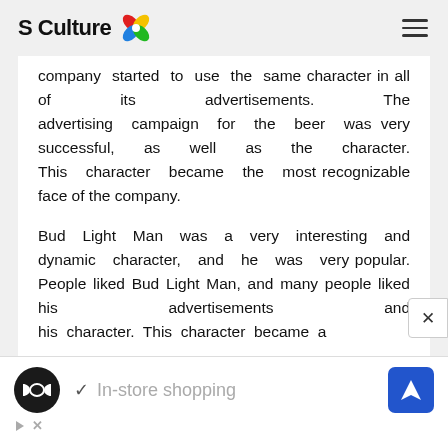S Culture
company started to use the same character in all of its advertisements. The advertising campaign for the beer was very successful, as well as the character. This character became the most recognizable face of the company.

Bud Light Man was a very interesting and dynamic character, and he was very popular. People liked Bud Light Man, and many people liked his advertisements and his character. This character became a
[Figure (infographic): Advertisement banner showing a dark circular logo with infinity-like symbol, a checkmark with 'In-store shopping' text, and a blue diamond navigation icon. Below are ad control icons (play triangle and close X).]